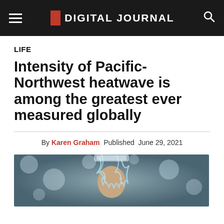DIGITAL JOURNAL
LIFE
Intensity of Pacific-Northwest heatwave is among the greatest ever measured globally
By Karen Graham  Published  June 29, 2021
[Figure (photo): Person pouring water over their head to cool down during the Pacific Northwest heatwave]